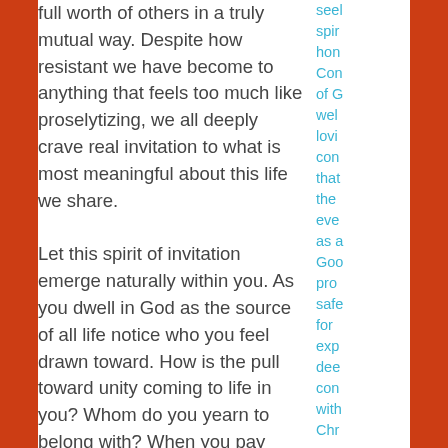full worth of others in a truly mutual way. Despite how resistant we have become to anything that feels too much like proselytizing, we all deeply crave real invitation to what is most meaningful about this life we share.

Let this spirit of invitation emerge naturally within you. As you dwell in God as the source of all life notice who you feel drawn toward. How is the pull toward unity coming to life in you? Whom do you yearn to belong with? When you pay attention to these inner movements, you may be surprised. You may feel drawn to someone you don't know, locally, or you might not...
see spir hon Con of G wel lovi con that the eve as a Goo pro safe for exp dee con with Chr eac Me and find con